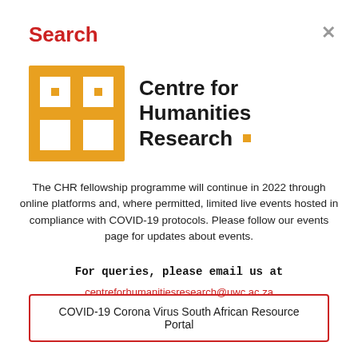Search
[Figure (logo): Centre for Humanities Research logo — golden/amber square bracket-style CHR monogram icon on the left, with bold text 'Centre for Humanities Research' and a small orange square dot on the right]
The CHR fellowship programme will continue in 2022 through online platforms and, where permitted, limited live events hosted in compliance with COVID-19 protocols. Please follow our events page for updates about events.
For queries, please email us at
centreforhumanitiesresearch@uwc.ac.za
COVID-19 Corona Virus South African Resource Portal